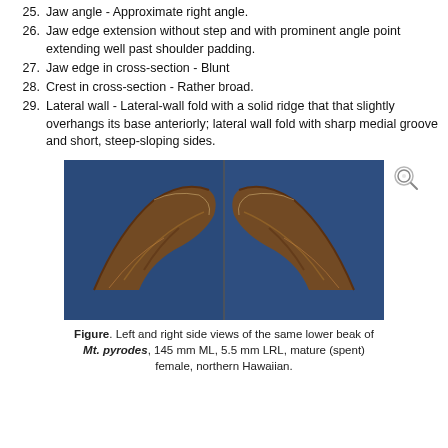25. Jaw angle - Approximate right angle.
26. Jaw edge extension without step and with prominent angle point extending well past shoulder padding.
27. Jaw edge in cross-section - Blunt
28. Crest in cross-section - Rather broad.
29. Lateral wall - Lateral-wall fold with a solid ridge that that slightly overhangs its base anteriorly; lateral wall fold with sharp medial groove and short, steep-sloping sides.
[Figure (photo): Left and right side views of the same lower beak of Mt. pyrodes, 145 mm ML, 5.5 mm LRL, mature (spent) female, northern Hawaiian.]
Figure. Left and right side views of the same lower beak of Mt. pyrodes, 145 mm ML, 5.5 mm LRL, mature (spent) female, northern Hawaiian.